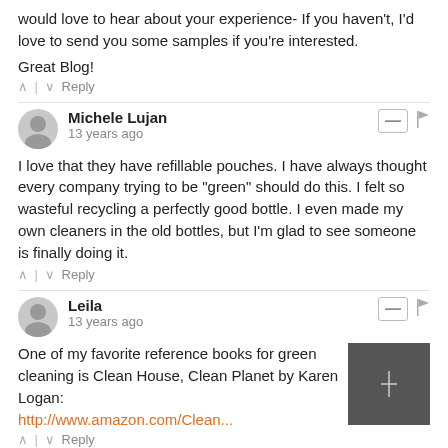would love to hear about your experience- If you haven't, I'd love to send you some samples if you're interested.
Great Blog!
^ | v   Reply
Michele Lujan
13 years ago
I love that they have refillable pouches. I have always thought every company trying to be "green" should do this. I felt so wasteful recycling a perfectly good bottle. I even made my own cleaners in the old bottles, but I'm glad to see someone is finally doing it.
^ | v   Reply
Leila
13 years ago
One of my favorite reference books for green cleaning is Clean House, Clean Planet by Karen Logan:
http://www.amazon.com/Clean...
^ | v   Reply